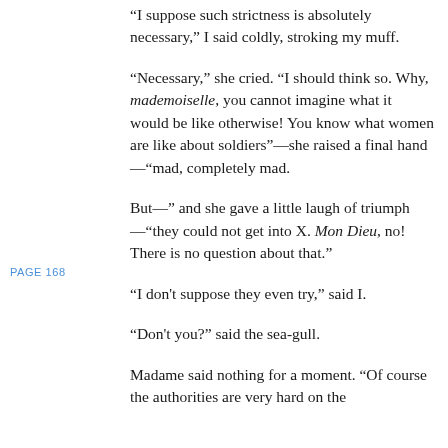“I suppose such strictness is absolutely necessary,” I said coldly, stroking my muff.
“Necessary,” she cried. “I should think so. Why, mademoiselle, you cannot imagine what it would be like otherwise! You know what women are like about soldiers”—she raised a final hand—“mad, completely mad.
PAGE 168
But—” and she gave a little laugh of triumph—“they could not get into X. Mon Dieu, no! There is no question about that.”
“I don't suppose they even try,” said I.
“Don't you?” said the sea-gull.
Madame said nothing for a moment. “Of course the authorities are very hard on the